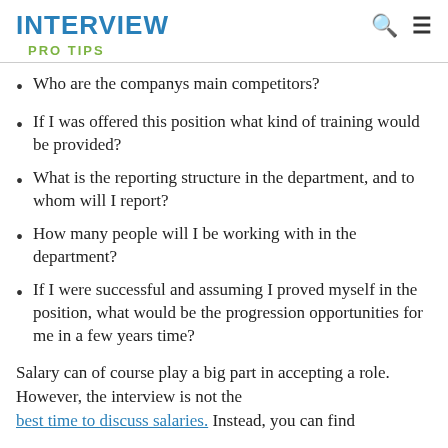INTERVIEW
PRO TIPS
Who are the companys main competitors?
If I was offered this position what kind of training would be provided?
What is the reporting structure in the department, and to whom will I report?
How many people will I be working with in the department?
If I were successful and assuming I proved myself in the position, what would be the progression opportunities for me in a few years time?
Salary can of course play a big part in accepting a role. However, the interview is not the best time to discuss salaries. Instead, you can find